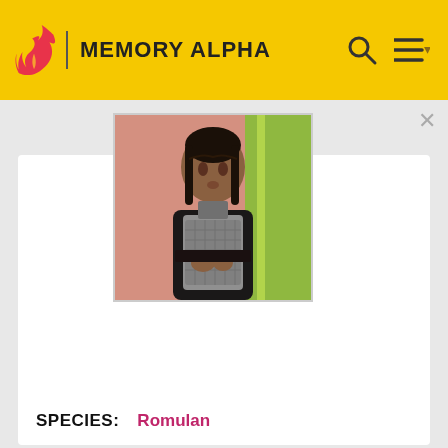MEMORY ALPHA
[Figure (photo): A Romulan character in dark and grey patterned costume, seated, with hands clasped, in a scene with pink/orange and green background lighting.]
SPECIES: Romulan